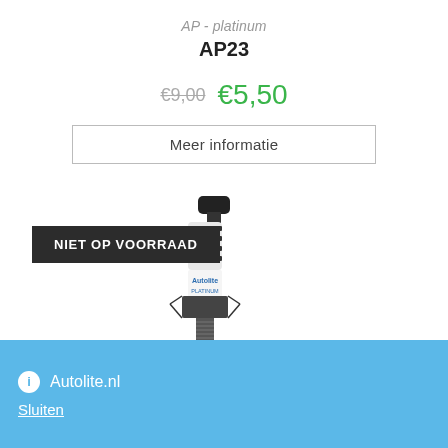AP - platinum
AP23
€9,00 €5,50
Meer informatie
[Figure (photo): Close-up photo of an Autolite AP23 platinum spark plug showing the ceramic insulator with black bands and metal threaded base.]
NIET OP VOORRAAD
Autolite.nl Sluiten